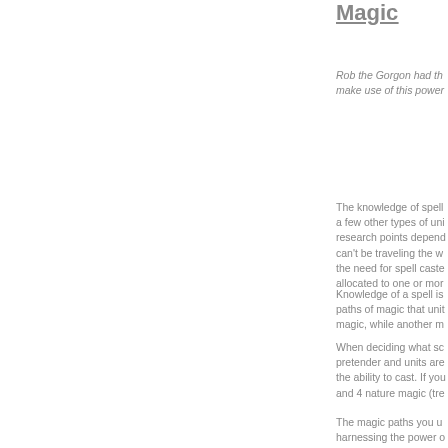Magic
Rob the Gorgon had th... make use of this power...
The knowledge of spell... a few other types of uni... research points depend... can't be traveling the w... the need for spell caste... allocated to one or mor...
Knowledge of a spell is... paths of magic that unit... magic, while another m...
When deciding what sc... pretender and units are... the ability to cast. If you... and 4 nature magic (tre...
The magic paths you u... harnessing the power o... forge magic items and c...